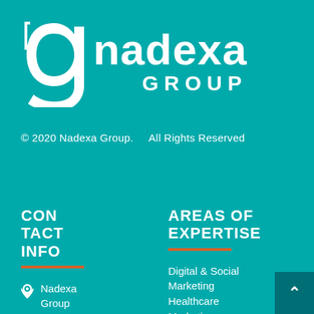[Figure (logo): Nadexa Group logo with white stylized 'g' icon and 'nadexa GROUP' text in white on teal background]
© 2020 Nadexa Group.    All Rights Reserved
CONTACT INFO
AREAS OF EXPERTISE
Nadexa Group
Digital & Social Marketing
Healthcare Marketing
Advocacy & Social